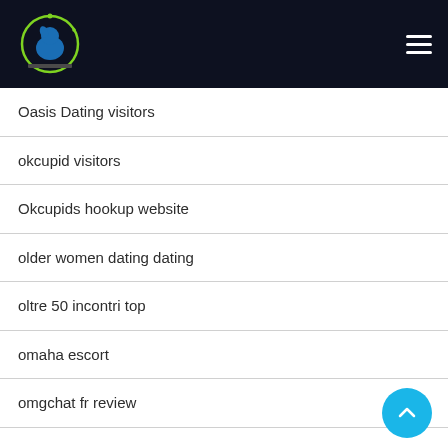[Figure (logo): Website logo — circular emblem with a bird/dog silhouette in blue and green on dark background]
Oasis Dating visitors
okcupid visitors
Okcupids hookup website
older women dating dating
oltre 50 incontri top
omaha escort
omgchat fr review